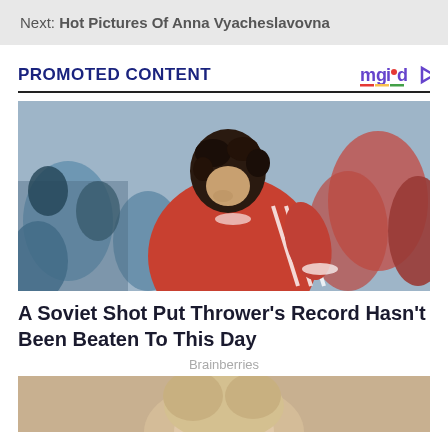Next: Hot Pictures Of Anna Vyacheslavovna
PROMOTED CONTENT
[Figure (photo): A woman in a red Adidas athletic shirt with curly dark hair looking downward at an outdoor sporting event, with a blurred crowd in the background.]
A Soviet Shot Put Thrower's Record Hasn't Been Beaten To This Day
Brainberries
[Figure (photo): Partial view of a person with blonde hair, cropped at bottom of page.]